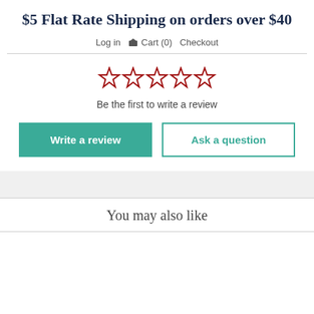$5 Flat Rate Shipping on orders over $40
Log in  Cart (0)  Checkout
[Figure (other): Five empty star outlines in dark red, indicating 0 out of 5 rating]
Be the first to write a review
Write a review
Ask a question
You may also like